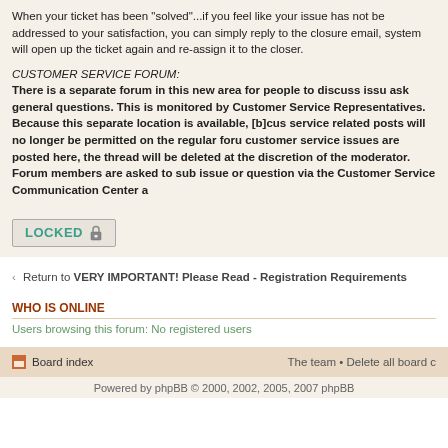When your ticket has been "solved"...if you feel like your issue has not been addressed to your satisfaction, you can simply reply to the closure email, system will open up the ticket again and re-assign it to the closer.
CUSTOMER SERVICE FORUM:
There is a separate forum in this new area for people to discuss issues and ask general questions. This is monitored by Customer Service Representatives. Because this separate location is available, [b]customer service related posts will no longer be permitted on the regular forum. If customer service issues are posted here, the thread will be deleted at the discretion of the moderator. Forum members are asked to submit their issue or question via the Customer Service Communication Center a
LOCKED
Return to VERY IMPORTANT! Please Read - Registration Requirements
WHO IS ONLINE
Users browsing this forum: No registered users
Board index
The team • Delete all board c
Powered by phpBB © 2000, 2002, 2005, 2007 phpBB